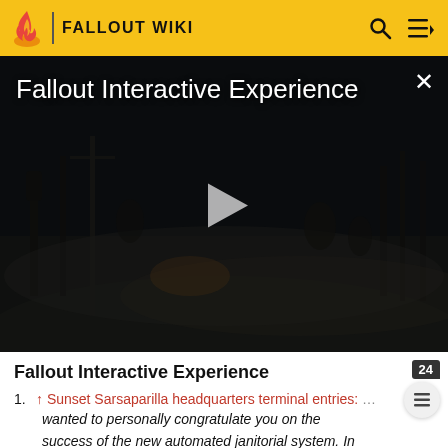FALLOUT WIKI
[Figure (screenshot): Dark post-apocalyptic video still with title 'Fallout Interactive Experience' and play button overlay]
Fallout Interactive Experience
↑ Sunset Sarsaparilla headquarters terminal entries: … wanted to personally congratulate you on the success of the new automated janitorial system. In